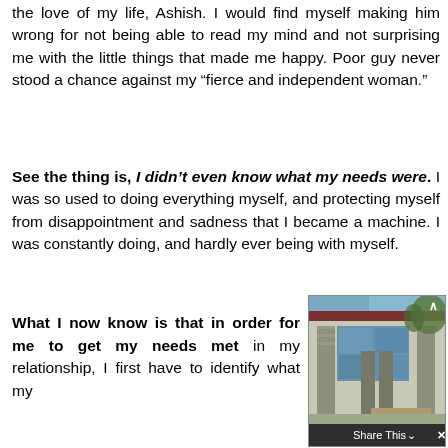the love of my life, Ashish. I would find myself making him wrong for not being able to read my mind and not surprising me with the little things that made me happy. Poor guy never stood a chance against my “fierce and independent woman.”
See the thing is, I didn’t even know what my needs were. I was so used to doing everything myself, and protecting myself from disappointment and sadness that I became a machine. I was constantly doing, and hardly ever being with myself.
What I now know is that in order for me to get my needs met in my relationship, I first have to identify what my
[Figure (photo): Photo of a building exterior with stone pillars, large windows, and trees, with a Share This bar overlay at the bottom]